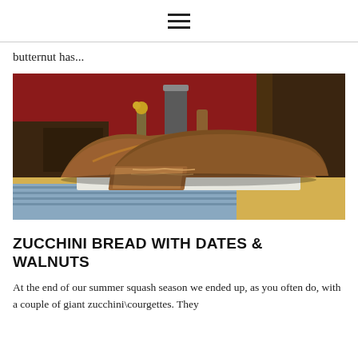≡
butternut has...
[Figure (photo): Photo of two loaves of zucchini bread on a table with a blue cloth, in front of a red wall and wooden fireplace mantel. One loaf is sliced to show interior texture.]
ZUCCHINI BREAD WITH DATES & WALNUTS
At the end of our summer squash season we ended up, as you often do, with a couple of giant zucchini\courgettes. They